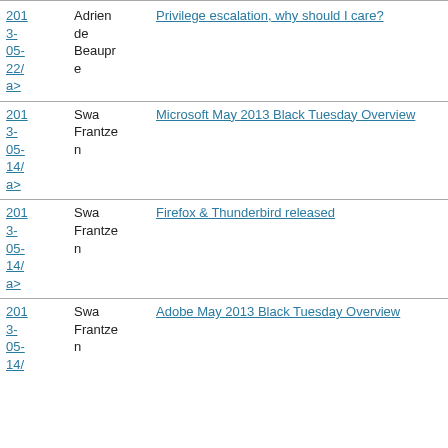2013-05-22 | Adrien de Beaupre | Privilege escalation, why should I care?
2013-05-14 | Swa Frantzen | Microsoft May 2013 Black Tuesday Overview
2013-05-14 | Swa Frantzen | Firefox & Thunderbird released
2013-05-14 | Swa Frantzen | Adobe May 2013 Black Tuesday Overview